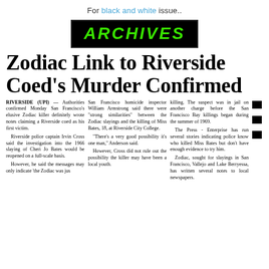For black and white issue..
[Figure (logo): ARCHIVES banner with green italic bold text on black background]
Zodiac Link to Riverside Coed's Murder Confirmed
RIVERSIDE (UPI) — Authorities confirmed Monday San Francisco's elusive Zodiac killer definitely wrote notes claiming a Riverside coed as his first victim. Riverside police captain Irvin Cross said the investigation into the 1966 slaying of Cheri Jo Bates would be reopened on a full-scale basis. However, he said the messages may only indicate 'the Zodiac was jus'
San Francisco homicide inspector William Armstrong said there were "strong similarities" between the Zodiac slayings and the killing of Miss Bates, 18, at Riverside City College. "There's a very good possibility it's one man," Anderson said. However, Cross did not rule out the possibility the killer may have been a local youth.
killing. The suspect was in jail on another charge before the San Francisco Bay killings began during the summer of 1969. The Press - Enterprise has run several stories indicating police know who killed Miss Bates but don't have enough evidence to try him. Zodiac, sought for slayings in San Francisco, Vallejo and Lake Berryessa, has written several notes to local newspapers.